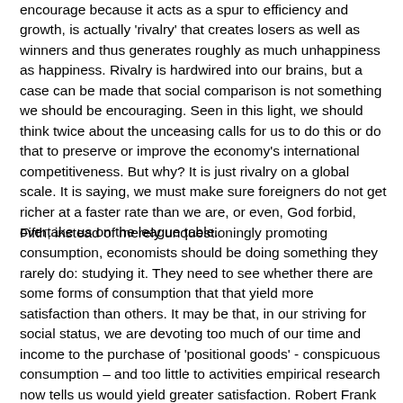encourage because it acts as a spur to efficiency and growth, is actually 'rivalry' that creates losers as well as winners and thus generates roughly as much unhappiness as happiness. Rivalry is hardwired into our brains, but a case can be made that social comparison is not something we should be encouraging. Seen in this light, we should think twice about the unceasing calls for us to do this or do that to preserve or improve the economy's international competitiveness. But why? It is just rivalry on a global scale. It is saying, we must make sure foreigners do not get richer at a faster rate than we are, or even, God forbid, overtake us on the league table.
Fifth, instead of merely unquestioningly promoting consumption, economists should be doing something they rarely do: studying it. They need to see whether there are some forms of consumption that that yield more satisfaction than others. It may be that, in our striving for social status, we are devoting too much of our time and income to the purchase of 'positional goods' - conspicuous consumption – and too little to activities empirical research now tells us would yield greater satisfaction. Robert Frank of Cornell says